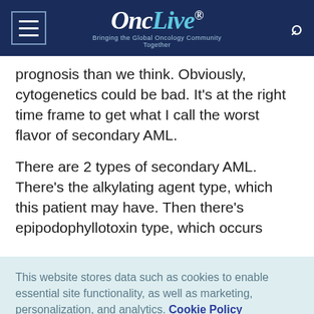OncLive® — Bringing the Global Oncology Community Together
prognosis than we think. Obviously, cytogenetics could be bad. It's at the right time frame to get what I call the worst flavor of secondary AML.
There are 2 types of secondary AML. There's the alkylating agent type, which this patient may have. Then there's epipodophyllotoxin type, which occurs
This website stores data such as cookies to enable essential site functionality, as well as marketing, personalization, and analytics. Cookie Policy
Accept
Deny